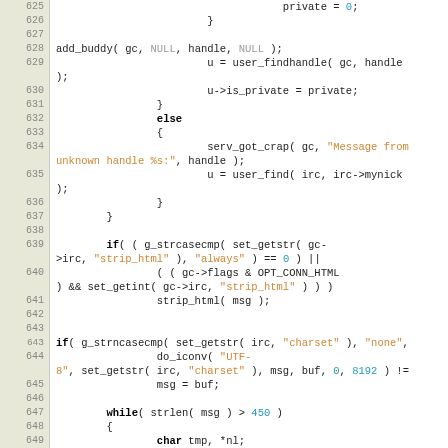[Figure (screenshot): Source code listing in C, lines 625-649, showing IRC protocol handling code with syntax highlighting. Line numbers in left gutter, code on white background.]